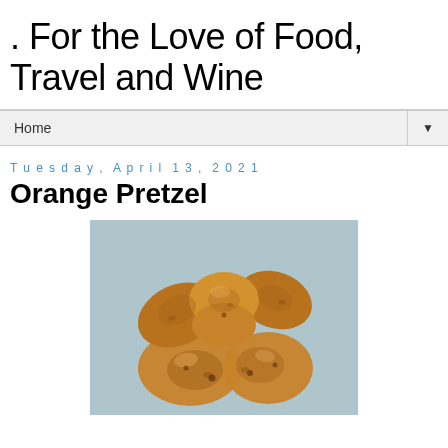. For the Love of Food, Travel and Wine
Home ▼
Tuesday, April 13, 2021
Orange Pretzel
[Figure (photo): A golden-brown baked pretzel photographed from above on a light blue/grey background]